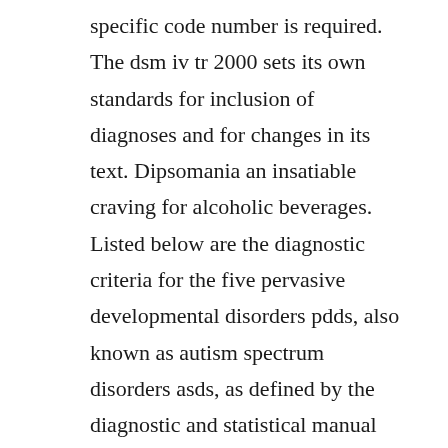specific code number is required. The dsm iv tr 2000 sets its own standards for inclusion of diagnoses and for changes in its text. Dipsomania an insatiable craving for alcoholic beverages. Listed below are the diagnostic criteria for the five pervasive developmental disorders pdds, also known as autism spectrum disorders asds, as defined by the diagnostic and statistical manual of mental disorders fourth edition dsm iv, published by the american psychiatric association, washington d. Diagnostic and statistical manual of mental disorders, fifth edition.